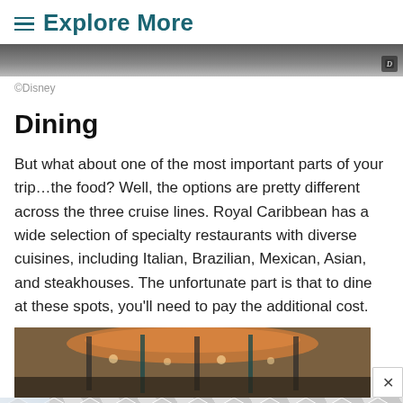Explore More
[Figure (photo): Top partial photo, dark tones, cropped]
©Disney
Dining
But what about one of the most important parts of your trip…the food? Well, the options are pretty different across the three cruise lines. Royal Caribbean has a wide selection of specialty restaurants with diverse cuisines, including Italian, Brazilian, Mexican, Asian, and steakhouses. The unfortunate part is that to dine at these spots, you'll need to pay the additional cost.
[Figure (photo): Interior of a specialty restaurant with decorative copper/orange ceiling fixtures and suspended lights, dark metal columns]
[Figure (photo): Advertisement banner with geometric cube pattern in grey and white]